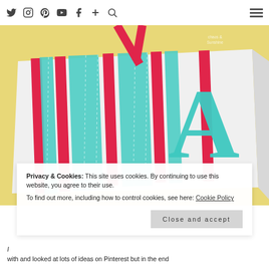Twitter Instagram Pinterest YouTube Facebook + Search [hamburger menu]
[Figure (photo): A white canvas board decorated with alternating teal and pink/red vertical ribbons, with a large teal decorative letter 'A' mounted on top. Yellow wall visible in background.]
Privacy & Cookies: This site uses cookies. By continuing to use this website, you agree to their use.
To find out more, including how to control cookies, see here: Cookie Policy
Close and accept
with and looked at lots of ideas on Pinterest but in the end